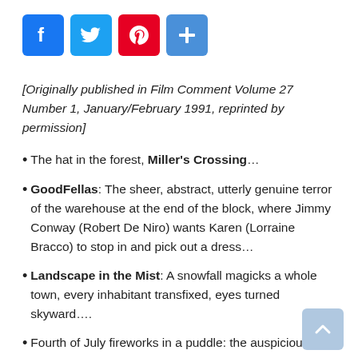[Figure (other): Social media share buttons: Facebook (blue), Twitter (blue), Pinterest (red), Share/Plus (blue)]
[Originally published in Film Comment Volume 27 Number 1, January/February 1991, reprinted by permission]
The hat in the forest, Miller's Crossing...
GoodFellas: The sheer, abstract, utterly genuine terror of the warehouse at the end of the block, where Jimmy Conway (Robert De Niro) wants Karen (Lorraine Bracco) to stop in and pick out a dress...
Landscape in the Mist: A snowfall magicks a whole town, every inhabitant transfixed, eyes turned skyward....
Fourth of July fireworks in a puddle: the auspicious